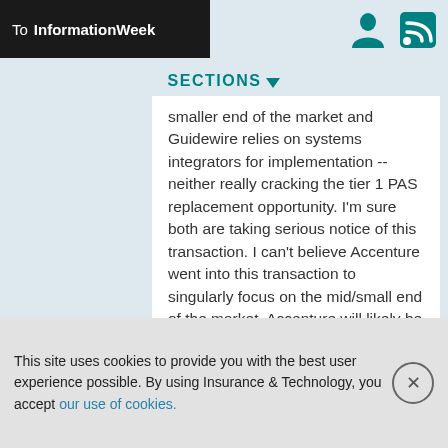To InformationWeek
SECTIONS
smaller end of the market and Guidewire relies on systems integrators for implementation -- neither really cracking the tier 1 PAS replacement opportunity. I'm sure both are taking serious notice of this transaction. I can't believe Accenture went into this transaction to singularly focus on the mid/small end of the market. Accenture will likely be successful with Duck Creek at the tier 1 level where they have a strong captive relationship with the customer. I'm not sure Guidewire has this kind of leverage. Then, the question will really boil down to whether or not Duck Creek has a
This site uses cookies to provide you with the best user experience possible. By using Insurance & Technology, you accept our use of cookies.